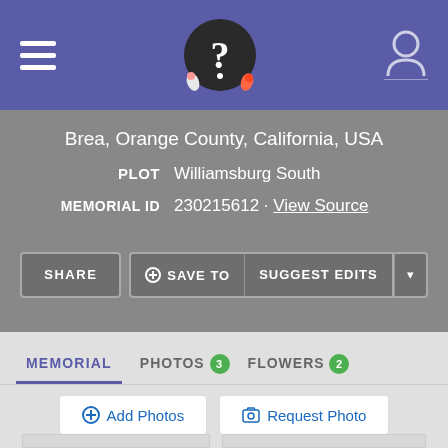FindAGrave memorial page header with logo and navigation
Brea, Orange County, California, USA
PLOT   Williamsburg South
MEMORIAL ID   230215612 · View Source
SHARE   ⊕ SAVE TO   SUGGEST EDITS   ▾
MEMORIAL   PHOTOS 3   FLOWERS 2
⊕ Add Photos   📷 Request Photo